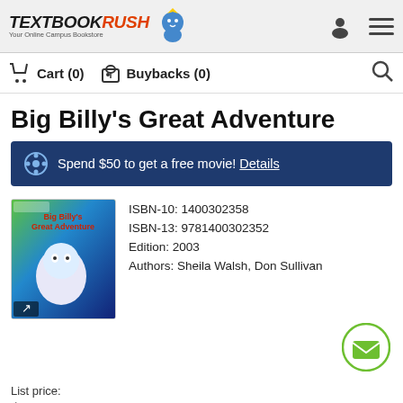[Figure (logo): TextbookRush logo with mascot character and tagline 'Your Online Campus Bookstore']
Cart (0)   Buybacks (0)
Big Billy's Great Adventure
Spend $50 to get a free movie! Details
[Figure (photo): Book cover of Big Billy's Great Adventure showing cartoon characters]
ISBN-10: 1400302358
ISBN-13: 9781400302352
Edition: 2003
Authors: Sheila Walsh, Don Sullivan
List price:
$15.99